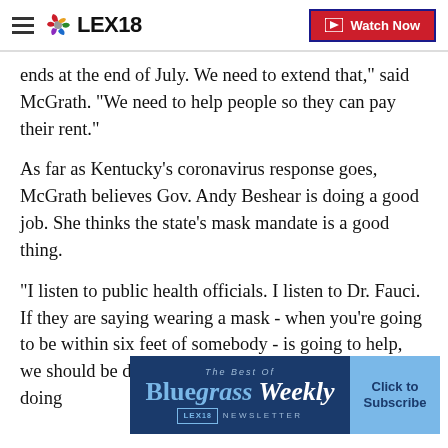LEX18 | Watch Now
ends at the end of July. We need to extend that," said McGrath. "We need to help people so they can pay their rent."
As far as Kentucky's coronavirus response goes, McGrath believes Gov. Andy Beshear is doing a good job. She thinks the state's mask mandate is a good thing.
"I listen to public health officials. I listen to Dr. Fauci. If they are saying wearing a mask - when you're going to be within six feet of somebody - is going to help, we should be doing it," said McGrath. "We should be doing... llow Ameri...
[Figure (other): Bluegrass Weekly newsletter advertisement banner from LEX18 with 'Click to Subscribe' button]